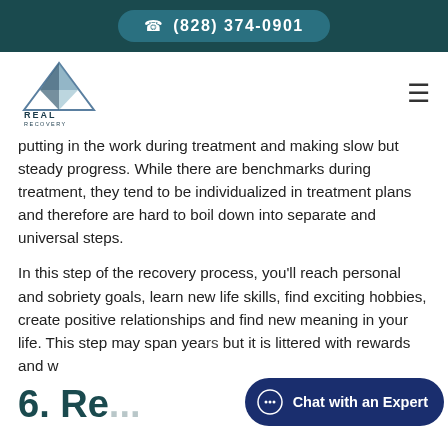(828) 374-0901
[Figure (logo): Real Recovery by Pyramid Healthcare logo with mountain triangle icon]
putting in the work during treatment and making slow but steady progress. While there are benchmarks during treatment, they tend to be individualized in treatment plans and therefore are hard to boil down into separate and universal steps.
In this step of the recovery process, you'll reach personal and sobriety goals, learn new life skills, find exciting hobbies, create positive relationships and find new meaning in your life. This step may span years but it is littered with rewards and w...
6. Re...